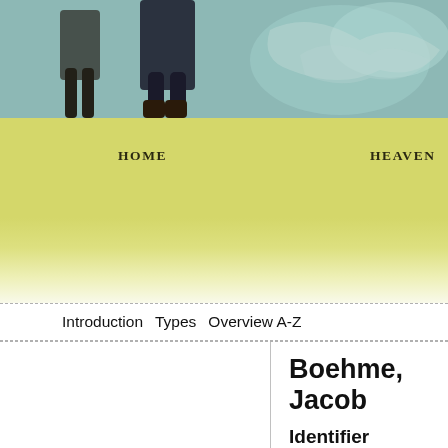[Figure (photo): Photograph strip showing figures in dark clothing against a teal/blue-green background, partially visible at top of page]
HOME    HEAVEN    ACTIVITIES
Introduction   Types   Overview A-Z
Boehme, Jacob
Identifier